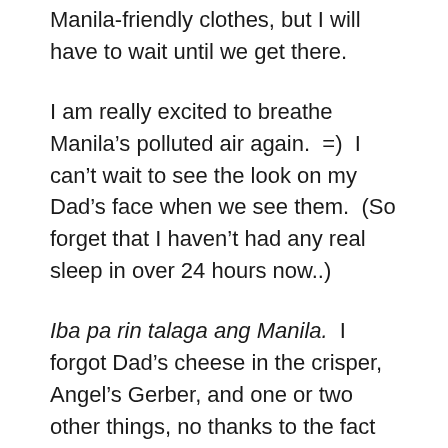Manila-friendly clothes, but I will have to wait until we get there.
I am really excited to breathe Manila’s polluted air again.  =)  I can’t wait to see the look on my Dad’s face when we see them.  (So forget that I haven’t had any real sleep in over 24 hours now..)
Iba pa rin talaga ang Manila.  I forgot Dad’s cheese in the crisper, Angel’s Gerber, and one or two other things, no thanks to the fact that I was packing my handcarry luggage on the 11th hour.  But I’m here, on my way home.. it's been too long..